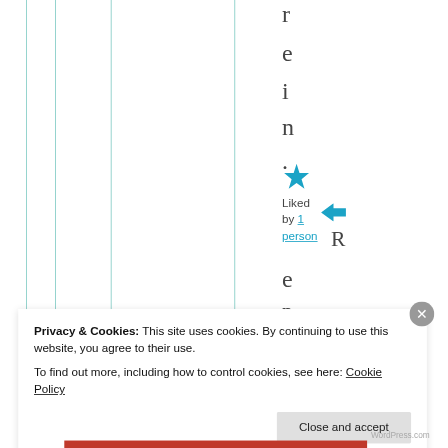r e i n .
[Figure (screenshot): Star/like icon in teal blue color, like button UI element]
Liked by 1 person
[Figure (screenshot): Reply arrow icon in teal blue color]
R e p
Privacy & Cookies: This site uses cookies. By continuing to use this website, you agree to their use. To find out more, including how to control cookies, see here: Cookie Policy
Close and accept